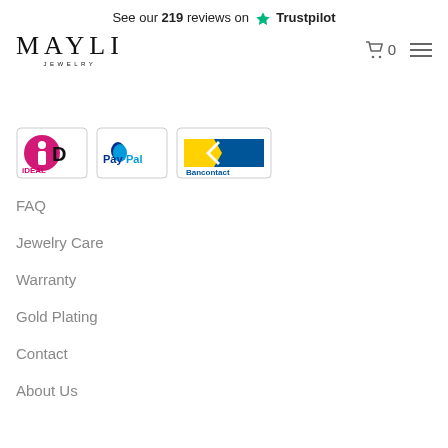See our 219 reviews on Trustpilot
[Figure (logo): MAYLI JEWELRY logo]
[Figure (infographic): Payment method logos: iDEAL, PayPal, Bancontact]
FAQ
Jewelry Care
Warranty
Gold Plating
Contact
About Us